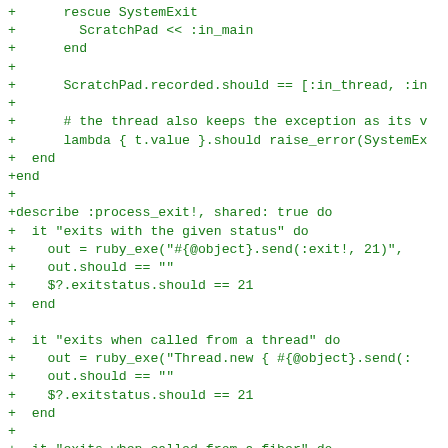[Figure (screenshot): Code diff snippet in green monospace font showing Ruby test code for process_exit! with test cases for exiting with a given status, from a thread, and from a fiber.]